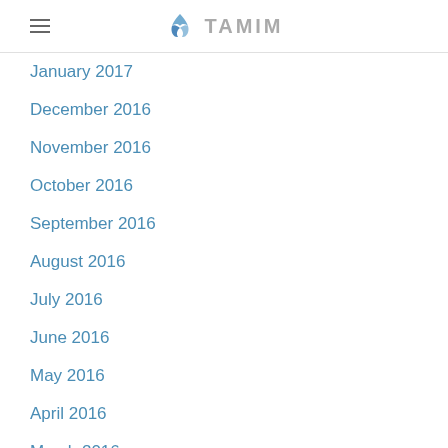TAMIM
January 2017
December 2016
November 2016
October 2016
September 2016
August 2016
July 2016
June 2016
May 2016
April 2016
March 2016
February 2016